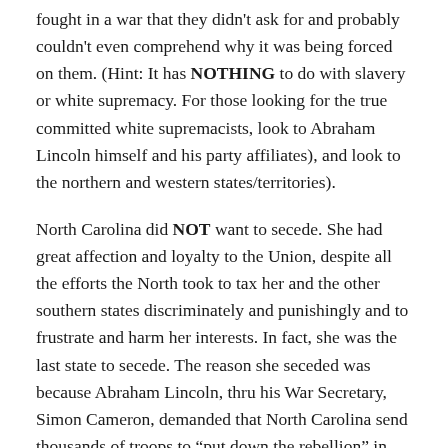fought in a war that they didn't ask for and probably couldn't even comprehend why it was being forced on them. (Hint: It has NOTHING to do with slavery or white supremacy. For those looking for the true committed white supremacists, look to Abraham Lincoln himself and his party affiliates), and look to the northern and western states/territories).
North Carolina did NOT want to secede. She had great affection and loyalty to the Union, despite all the efforts the North took to tax her and the other southern states discriminately and punishingly and to frustrate and harm her interests. In fact, she was the last state to secede. The reason she seceded was because Abraham Lincoln, thru his War Secretary, Simon Cameron, demanded that North Carolina send thousands of troops to “put down the rebellion” in the wake of Fort Sumter (ie, to invade the South and wage war against her). The Governor of NC, John